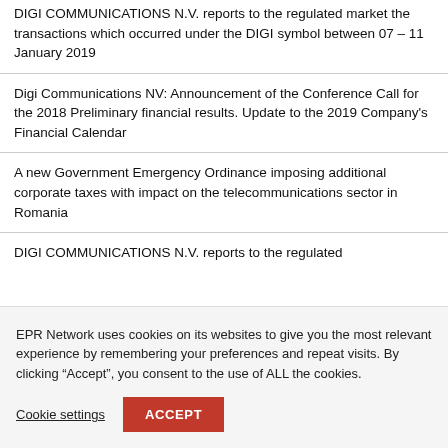DIGI COMMUNICATIONS N.V. reports to the regulated market the transactions which occurred under the DIGI symbol between 07 – 11 January 2019
Digi Communications NV: Announcement of the Conference Call for the 2018 Preliminary financial results. Update to the 2019 Company's Financial Calendar
A new Government Emergency Ordinance imposing additional corporate taxes with impact on the telecommunications sector in Romania
DIGI COMMUNICATIONS N.V. reports to the regulated...
EPR Network uses cookies on its websites to give you the most relevant experience by remembering your preferences and repeat visits. By clicking "Accept", you consent to the use of ALL the cookies.